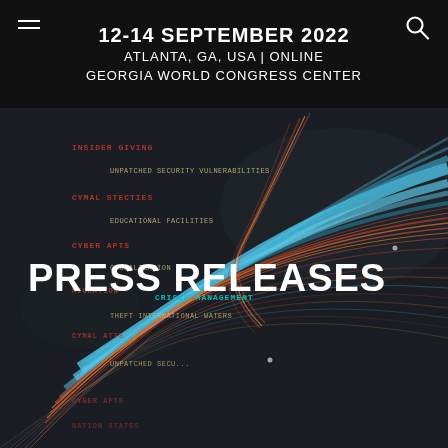12-14 SEPTEMBER 2022
ATLANTA, GA, USA | ONLINE
GEORGIA WORLD CONGRESS CENTER
[Figure (infographic): Dark background network visualization showing interconnected lines in blue, red, orange, and yellow radiating from the right side, with cybersecurity-related text labels such as UNPATCHED SECURITY VULNERABILITIES, EDUCATIONAL FACILITIES, GLOBALIZATION, CRISIS MANAGEMENT, THEFT, INTERNATIONAL WATERS overlaid on the dark map background.]
PRESS RELEASES